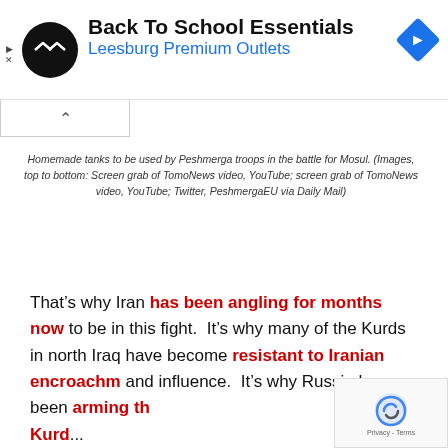[Figure (advertisement): Ad banner: Back To School Essentials at Leesburg Premium Outlets with a circular logo and navigation icon]
Homemade tanks to be used by Peshmerga troops in the battle for Mosul. (Images, top to bottom: Screen grab of TomoNews video, YouTube; screen grab of TomoNews video, YouTube; Twitter, PeshmergaEU via Daily Mail)
That’s why Iran has been angling for months now to be in this fight.  It’s why many of the Kurds in north Iraq have become resistant to Iranian encroachment and influence.  It’s why Russia has been arming th Kurd...